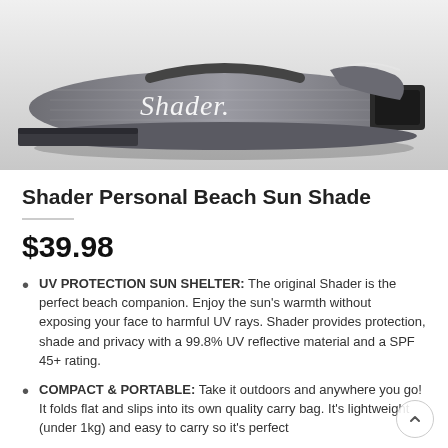[Figure (photo): Product photo of the Shader beach shade product in its carry bag, gray fabric with 'Shader.' branding text in white script, on a light gray background.]
Shader Personal Beach Sun Shade
$39.98
UV PROTECTION SUN SHELTER: The original Shader is the perfect beach companion. Enjoy the sun's warmth without exposing your face to harmful UV rays. Shader provides protection, shade and privacy with a 99.8% UV reflective material and a SPF 45+ rating.
COMPACT & PORTABLE: Take it outdoors and anywhere you go! It folds flat and slips into its own quality carry bag. It's lightweight (under 1kg) and easy to carry so it's perfect